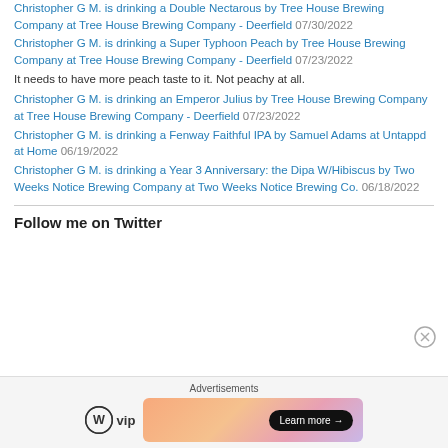Christopher G M. is drinking a Double Nectarous by Tree House Brewing Company at Tree House Brewing Company - Deerfield 07/30/2022
Christopher G M. is drinking a Super Typhoon Peach by Tree House Brewing Company at Tree House Brewing Company - Deerfield 07/23/2022
It needs to have more peach taste to it. Not peachy at all.
Christopher G M. is drinking an Emperor Julius by Tree House Brewing Company at Tree House Brewing Company - Deerfield 07/23/2022
Christopher G M. is drinking a Fenway Faithful IPA by Samuel Adams at Untappd at Home 06/19/2022
Christopher G M. is drinking a Year 3 Anniversary: the Dipa W/Hibiscus by Two Weeks Notice Brewing Company at Two Weeks Notice Brewing Co. 06/18/2022
Follow me on Twitter
[Figure (advertisement): WordPress VIP advertisement banner with Learn more button]